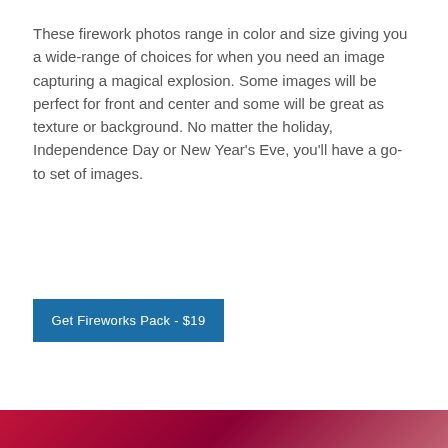These firework photos range in color and size giving you a wide-range of choices for when you need an image capturing a magical explosion. Some images will be perfect for front and center and some will be great as texture or background. No matter the holiday, Independence Day or New Year's Eve, you'll have a go-to set of images.
[Figure (photo): A row of 8 firework photo thumbnails in a grid strip, showing various firework explosions in dark backgrounds with colors including white, red, pink, and orange.]
Get Fireworks Pack - $19